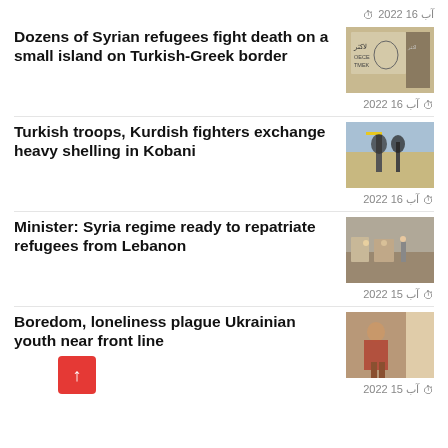آب 16 2022 ⏰
Dozens of Syrian refugees fight death on a small island on Turkish-Greek border
[Figure (photo): Photo showing Arabic/refugee-related graffiti or signage with text including OECE TMEK]
آب 16 2022 ⏰
Turkish troops, Kurdish fighters exchange heavy shelling in Kobani
[Figure (photo): Photo of soldiers or fighters near a structure with a yellow flag]
آب 16 2022 ⏰
Minister: Syria regime ready to repatriate refugees from Lebanon
[Figure (photo): Photo of people near buildings in a Middle Eastern setting]
آب 15 2022 ⏰
Boredom, loneliness plague Ukrainian youth near front line
[Figure (photo): Photo of a young person sitting near a window]
آب 15 2022 ⏰